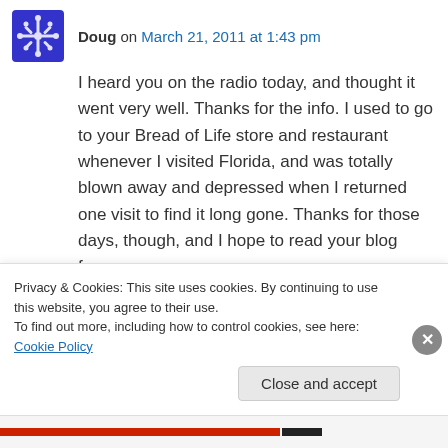Doug on March 21, 2011 at 1:43 pm
I heard you on the radio today, and thought it went very well. Thanks for the info. I used to go to your Bread of Life store and restaurant whenever I visited Florida, and was totally blown away and depressed when I returned one visit to find it long gone. Thanks for those days, though, and I hope to read your blog from now on.
PS – If only there was a way you and your wife's great restaurant could live again!
Privacy & Cookies: This site uses cookies. By continuing to use this website, you agree to their use.
To find out more, including how to control cookies, see here: Cookie Policy
Close and accept